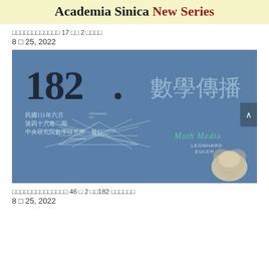Academia Sinica New Series
□□□□□□□□□□□□ 17 □□ 2 □□□□
8 □ 25, 2022
[Figure (illustration): Cover of Math Media (數學傳播) journal issue 182, volume 46 number 2, June 2022, published by Academia Sinica Institute of Mathematics. Blue background with large '182' numeral, Chinese title '數學傳播', subtitle block in Chinese, 'Math Media' in green, geometric diagram and portrait of Leonhard Euler.]
□□□□□□□□□□□□□□ 46 □ 2 □□182 □□□□□□
8 □ 25, 2022